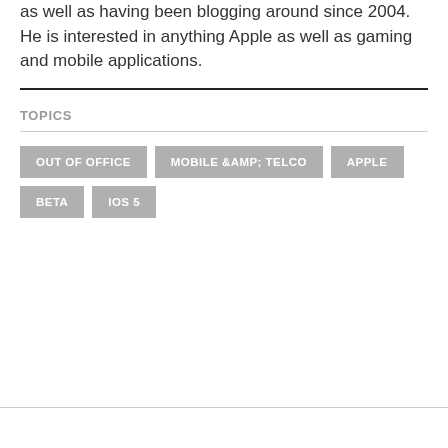as well as having been blogging around since 2004. He is interested in anything Apple as well as gaming and mobile applications.
TOPICS
OUT OF OFFICE
MOBILE &AMP; TELCO
APPLE
BETA
IOS 5